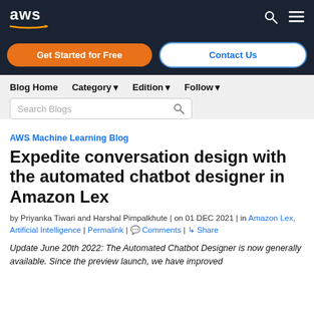[Figure (logo): AWS logo with white text and orange arrow on dark navy background]
Get Started for Free | Contact Us
Blog Home  Category ▾  Edition ▾  Follow ▾  Search Blogs
AWS Machine Learning Blog
Expedite conversation design with the automated chatbot designer in Amazon Lex
by Priyanka Tiwari and Harshal Pimpalkhute | on 01 DEC 2021 | in Amazon Lex, Artificial Intelligence | Permalink | Comments | Share
Update June 20th 2022: The Automated Chatbot Designer is now generally available. Since the preview launch, we have improved